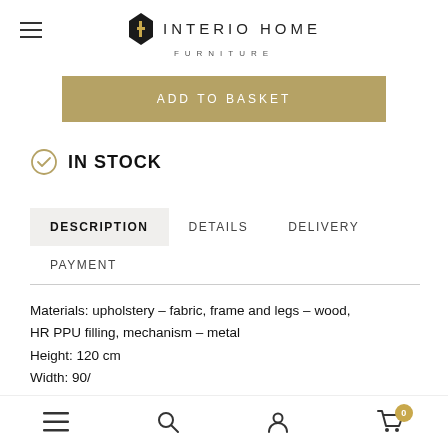INTERIO HOME FURNITURE
ADD TO BASKET
IN STOCK
DESCRIPTION  DETAILS  DELIVERY  PAYMENT
Materials: upholstery – fabric, frame and legs – wood, HR PPU filling, mechanism – metal
Height: 120 cm
Width: 90/
Navigation icons: menu, search, account, cart (0)